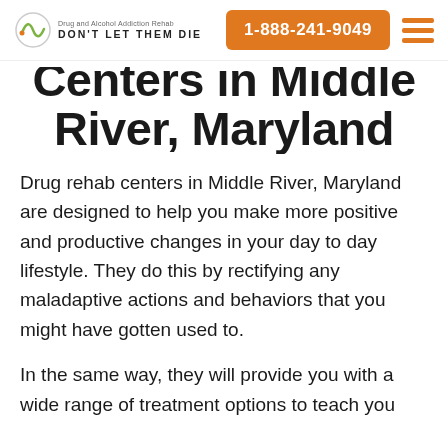DON'T LET THEM DIE | 1-888-241-9049
Centers in Middle River, Maryland
Drug rehab centers in Middle River, Maryland are designed to help you make more positive and productive changes in your day to day lifestyle. They do this by rectifying any maladaptive actions and behaviors that you might have gotten used to.
In the same way, they will provide you with a wide range of treatment options to teach you